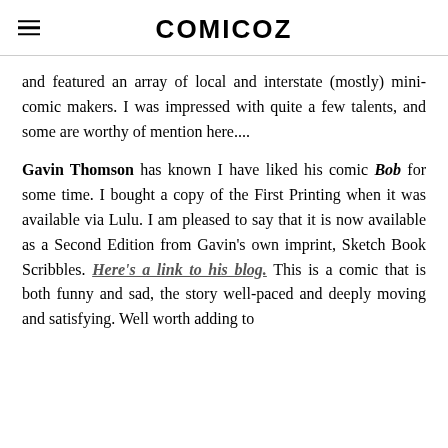COMICOZ
and featured an array of local and interstate (mostly) mini-comic makers. I was impressed with quite a few talents, and some are worthy of mention here....
Gavin Thomson has known I have liked his comic Bob for some time. I bought a copy of the First Printing when it was available via Lulu. I am pleased to say that it is now available as a Second Edition from Gavin's own imprint, Sketch Book Scribbles. Here's a link to his blog. This is a comic that is both funny and sad, the story well-paced and deeply moving and satisfying. Well worth adding to